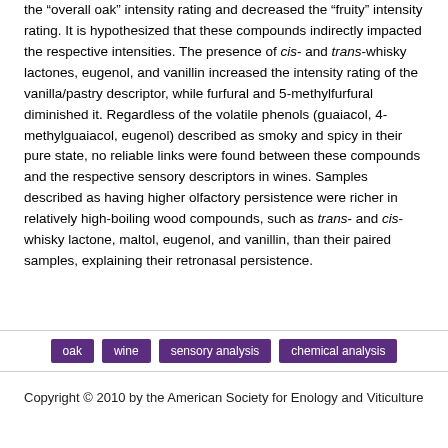the "overall oak" intensity rating and decreased the "fruity" intensity rating. It is hypothesized that these compounds indirectly impacted the respective intensities. The presence of cis- and trans-whisky lactones, eugenol, and vanillin increased the intensity rating of the vanilla/pastry descriptor, while furfural and 5-methylfurfural diminished it. Regardless of the volatile phenols (guaiacol, 4-methylguaiacol, eugenol) described as smoky and spicy in their pure state, no reliable links were found between these compounds and the respective sensory descriptors in wines. Samples described as having higher olfactory persistence were richer in relatively high-boiling wood compounds, such as trans- and cis-whisky lactone, maltol, eugenol, and vanillin, than their paired samples, explaining their retronasal persistence.
oak
wine
sensory analysis
chemical analysis
Copyright © 2010 by the American Society for Enology and Viticulture